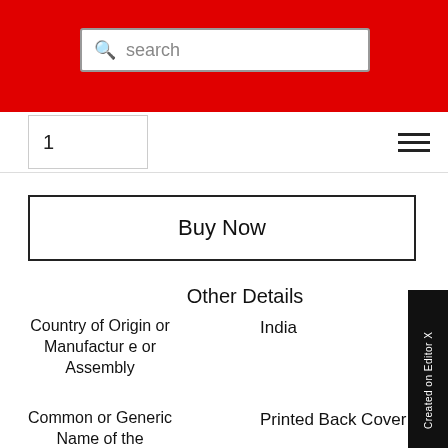search
1
Buy Now
Other Details
| Field | Value |
| --- | --- |
| Country of Origin or Manufacture or Assembly | India |
| Common or Generic Name of the | Printed Back Cover |